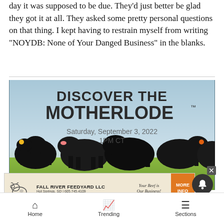day it was supposed to be due. They'd just better be glad they got it at all. They asked some pretty personal questions on that thing. I kept having to restrain myself from writing "NOYDB: None of Your Danged Business" in the blanks.
[Figure (photo): Advertisement image showing black Angus cattle in a green field under blue sky with text overlay reading DISCOVER THE MOTHERLODE™, Saturday September 3, 2022, 1PM CT]
[Figure (infographic): Banner advertisement for Fall River Feedyard LLC, Hot Springs, SD | 605.745.4109. Tagline: Your Beef is Our Business! Orange MORE INFO button on right.]
Home  Trending  Sections